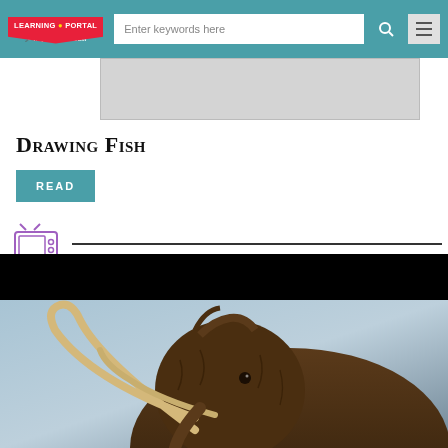LEARNING PORTAL | Royal BC Museum | Enter keywords here
[Figure (screenshot): Grey banner/advertisement placeholder area]
Drawing Fish
READ
[Figure (illustration): TV icon with purple outline and divider line, indicating a video section]
[Figure (photo): Video player showing a woolly mammoth exhibit/display with large curved tusks against a grey sky background]